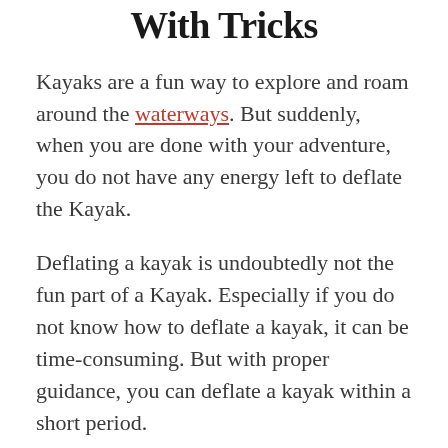With Tricks
Kayaks are a fun way to explore and roam around the waterways. But suddenly, when you are done with your adventure, you do not have any energy left to deflate the Kayak.
Deflating a kayak is undoubtedly not the fun part of a Kayak. Especially if you do not know how to deflate a kayak, it can be time-consuming. But with proper guidance, you can deflate a kayak within a short period.